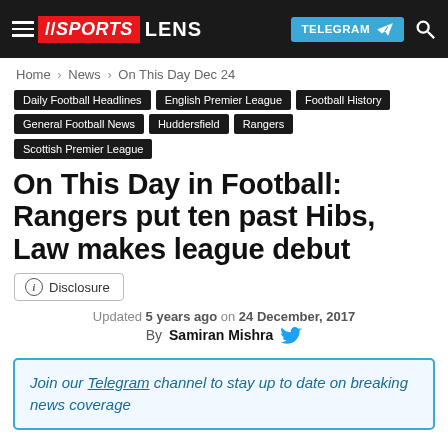SPORTS LENS | TELEGRAM
Home › News › On This Day Dec 24
Daily Football Headlines
English Premier League
Football History
General Football News
Huddersfield
Rangers
Scottish Premier League
On This Day in Football: Rangers put ten past Hibs, Law makes league debut
Disclosure
Updated 5 years ago on 24 December, 2017
By Samiran Mishra
Join our Telegram channel to stay up to date on breaking news coverage